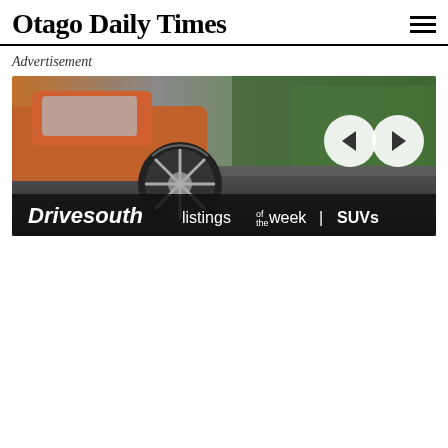Otago Daily Times
Advertisement
[Figure (illustration): Drivesouth advertisement banner showing an SUV wheel and car on a road with trees, with navigation arrows and text 'Drivesouth listings of the week | SUVs']